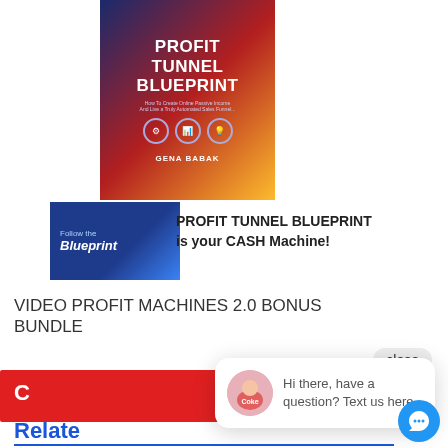[Figure (illustration): Profit Tunnel Blueprint book cover with blue/red/gold gradient, title in white bold text, small gear and chart icons, author name GENA BABAK at bottom]
[Figure (illustration): Right panel with light blue background showing checklist items: Friendly user interface, Highly Profitable free access bonus, Free Traffic blogging SEO, INFINITELY SCALABLE profit tunnel]
[Figure (illustration): Blue banner image with Follow the Blueprint text]
PROFIT TUNNEL BLUEPRINT is your CASH Machine!
VIDEO PROFIT MACHINES 2.0 BONUS BUNDLE
close
[Figure (screenshot): Red banner partial screenshot of a webpage]
[Figure (illustration): Chat popup with avatar of person in Coke shirt, text: Hi there, have a question? Text us here.]
Relate
01 Aug, 2022
How to get free traffic for